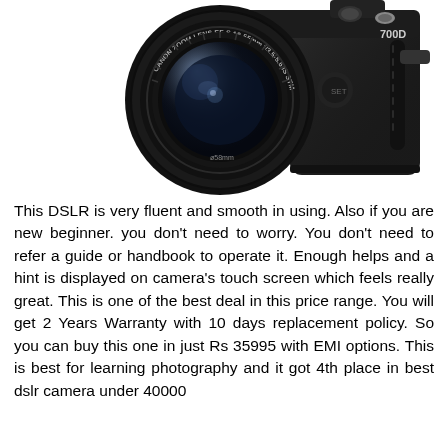[Figure (photo): Canon 700D DSLR camera with Canon Zoom Lens EF-S 18-55mm f/3.5-5.6 IS STM attached, shown at an angle on white background. The lens shows '58mm' marking and the camera body shows '700D' branding.]
This DSLR is very fluent and smooth in using. Also if you are new beginner. you don't need to worry. You don't need to refer a guide or handbook to operate it. Enough helps and a hint is displayed on camera's touch screen which feels really great. This is one of the best deal in this price range. You will get 2 Years Warranty with 10 days replacement policy. So you can buy this one in just Rs 35995 with EMI options. This is best for learning photography and it got 4th place in best dslr camera under 40000